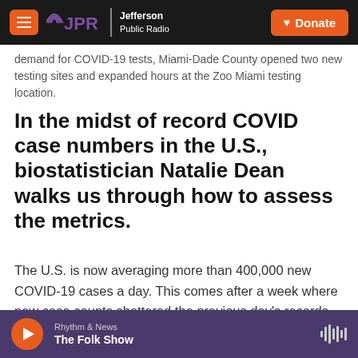JPR Jefferson Public Radio | Donate
demand for COVID-19 tests, Miami-Dade County opened two new testing sites and expanded hours at the Zoo Miami testing location.
In the midst of record COVID case numbers in the U.S., biostatistician Natalie Dean walks us through how to assess the metrics.
The U.S. is now averaging more than 400,000 new COVID-19 cases a day. This comes after a week where new case counts shattered the previous day's records again and again. And even those
Rhythm & News | The Folk Show